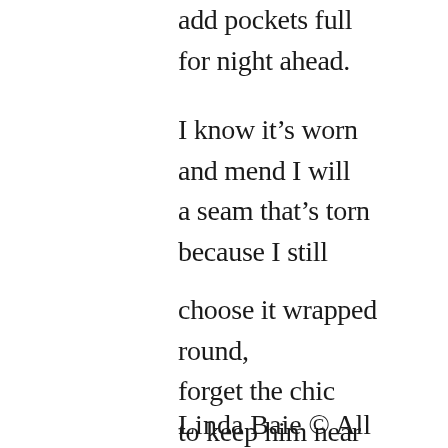add pockets full
for night ahead.
I know it’s worn
and mend I will
a seam that’s torn
because I still
choose it wrapped round,
forget the chic
to keep him near
when winter’s bleak.
Linda Baie © All Rights